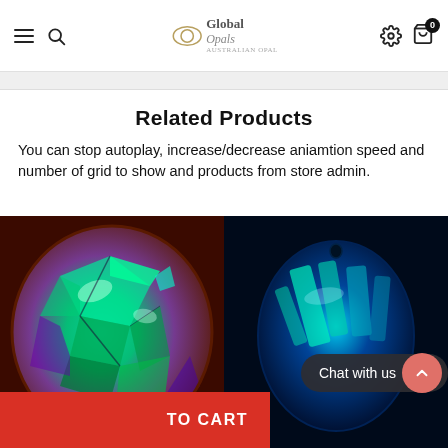Global Opals — navigation header with hamburger menu, search, logo, settings, and cart (0 items)
Related Products
You can stop autoplay, increase/decrease aniamtion speed and number of grid to show and products from store admin.
[Figure (photo): Close-up photo of a colorful green and purple opal gemstone with vivid play-of-color]
[Figure (photo): Close-up photo of a dark blue-green faceted opal gemstone with shimmering stripes]
USD ▾
ADD TO CART
Chat with us